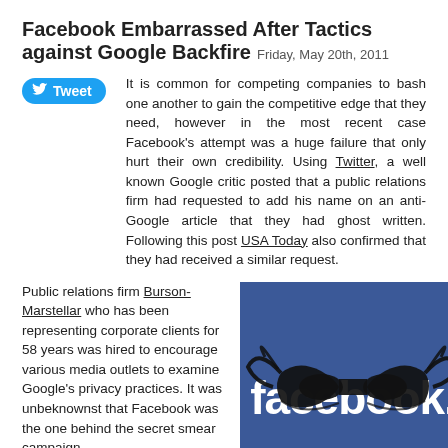Facebook Embarrassed After Tactics against Google Backfire  Friday, May 20th, 2011
[Figure (other): Tweet button with Twitter bird icon]
It is common for competing companies to bash one another to gain the competitive edge that they need, however in the most recent case Facebook's attempt was a huge failure that only hurt their own credibility. Using Twitter, a well known Google critic posted that a public relations firm had requested to add his name on an anti-Google article that they had ghost written. Following this post USA Today also confirmed that they had received a similar request.
Public relations firm Burson-Marstellar who has been representing corporate clients for 58 years was hired to encourage various media outlets to examine Google's privacy practices. It was unbeknownst that Facebook was the one behind the secret smear campaign
[Figure (illustration): Facebook logo on blue background with a masquerade mask over the letters, suggesting deception.]